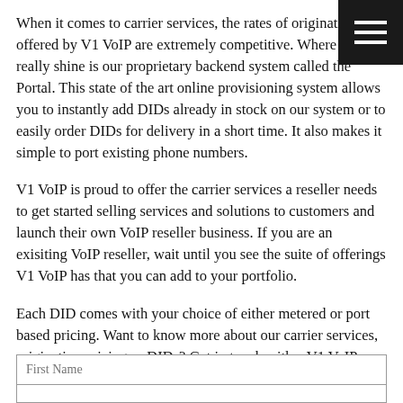When it comes to carrier services, the rates of origination offered by V1 VoIP are extremely competitive. Where we really shine is our proprietary backend system called the Portal. This state of the art online provisioning system allows you to instantly add DIDs already in stock on our system or to easily order DIDs for delivery in a short time. It also makes it simple to port existing phone numbers.
V1 VoIP is proud to offer the carrier services a reseller needs to get started selling services and solutions to customers and launch their own VoIP reseller business. If you are an exisiting VoIP reseller, wait until you see the suite of offerings V1 VoIP has that you can add to your portfolio.
Each DID comes with your choice of either metered or port based pricing. Want to know more about our carrier services, origination pricing or DIDs? Get in touch with a V1 VoIP sales representative today!